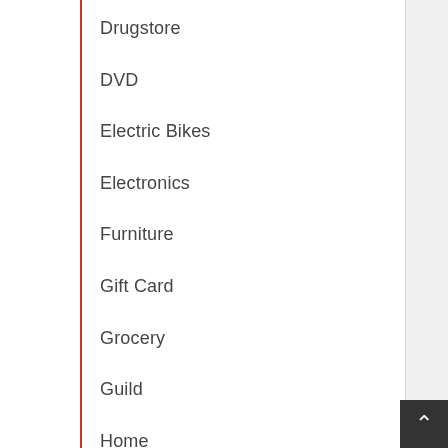Drugstore
DVD
Electric Bikes
Electronics
Furniture
Gift Card
Grocery
Guild
Home
Home Entertainment
Home Improvement